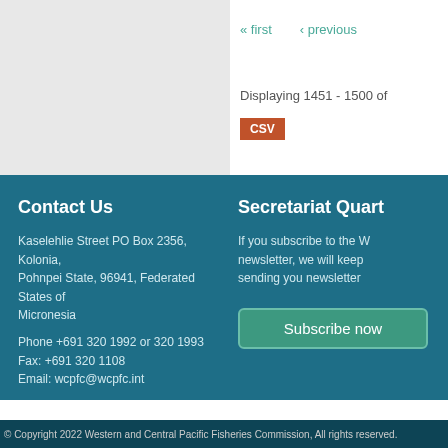« first   ‹ previous
Displaying 1451 - 1500 of
CSV
Contact Us
Kaselehlie Street PO Box 2356, Kolonia, Pohnpei State, 96941, Federated States of Micronesia
Phone +691 320 1992 or 320 1993
Fax: +691 320 1108
Email: wcpfc@wcpfc.int
Secretariat Quart
If you subscribe to the W newsletter, we will keep sending you newsletter
Subscribe now
© Copyright 2022 Western and Central Pacific Fisheries Commission, All rights reserved.